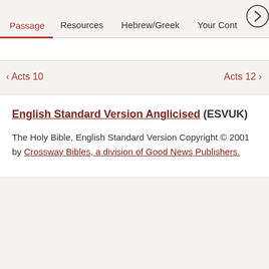Passage  Resources  Hebrew/Greek  Your Cont…
< Acts 10    Acts 12 >
English Standard Version Anglicised (ESVUK)
The Holy Bible, English Standard Version Copyright © 2001 by Crossway Bibles, a division of Good News Publishers.